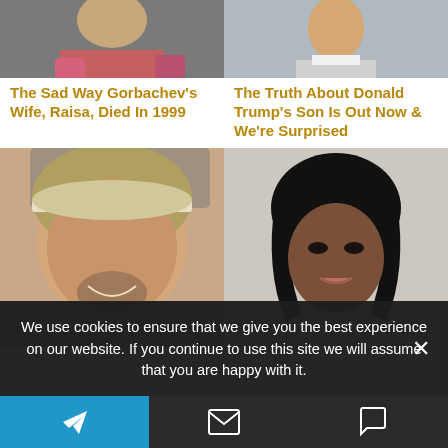[Figure (photo): Cropped photo of a person wearing a pink/red scarf, top portion only visible]
[Figure (photo): Cropped photo of a young man in a suit, upper portion visible]
The Sad Way Gorbachev's Wife, Raisa, Died In 1999
The Truth About Donald Trump's Son Is Out Now & We're Surprised
[Figure (photo): Close-up photo of a man with a goatee wearing a white/tan cap, smiling]
[Figure (photo): Portrait photo of a woman with short black hair and glamorous makeup]
We use cookies to ensure that we give you the best experience on our website. If you continue to use this site we will assume that you are happy with it.
[Figure (infographic): Bottom navigation bar with three icons: Telegram/send icon (blue background), envelope/email icon (dark background), chat bubble icon (dark background)]